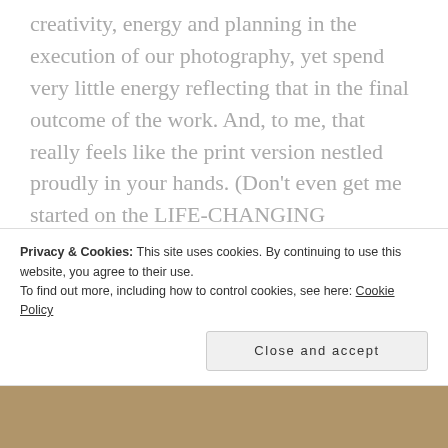creativity, energy and planning in the execution of our photography, yet spend very little energy reflecting that in the final outcome of the work. And, to me, that really feels like the print version nestled proudly in your hands. (Don't even get me started on the LIFE-CHANGING AMAZINGNESS OF MAKING A PHOTO BOOK, in particular. Experience this to know this, I can't recommend that enough. Even in the initial dummy stages, for me, it is currently the most
Privacy & Cookies: This site uses cookies. By continuing to use this website, you agree to their use.
To find out more, including how to control cookies, see here: Cookie Policy
Close and accept
[Figure (photo): Bottom strip showing a partial photo, warm brown/amber tones]